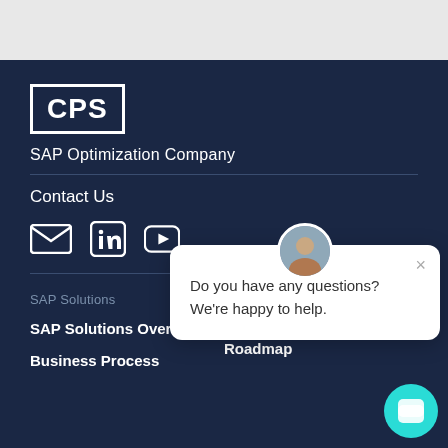[Figure (logo): CPS logo — white text 'CPS' in a white border box on dark navy background]
SAP Optimization Company
Contact Us
[Figure (illustration): Social media icons: email envelope, LinkedIn, YouTube]
[Figure (screenshot): Chat popup overlay with avatar photo, close X button, and text: Do you have any questions? We're happy to help.]
SAP Solutions
Differentiators
SAP Solutions Overview
Digital Transformation Roadmap
Business Process